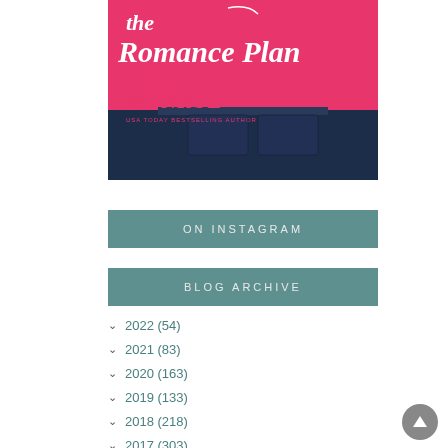[Figure (illustration): Book cover for 'The Romance Plan' by Lila Monroe, USA Today Bestselling Author. Pink cover with white script text and author name in pink, with a person in jeans visible below.]
ON INSTAGRAM
BLOG ARCHIVE
2022 (54)
2021 (83)
2020 (163)
2019 (133)
2018 (218)
2017 (303)